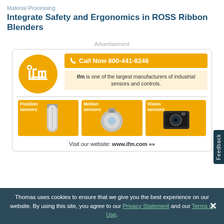Material Processing
Integrate Safety and Ergonomics in ROSS Ribbon Blenders
Advertisement
[Figure (infographic): IFM advertisement showing logo circle, 'Call Now 800-441-8246' button, tagline about being one of the largest manufacturers of industrial sensors and controls, three sensor product tiles (Position sensors, Motion sensors, Vision sensors), and website URL www.ifm.com]
Thomas uses cookies to ensure that we give you the best experience on our website. By using this site, you agree to our Privacy Statement and our Terms of Use.